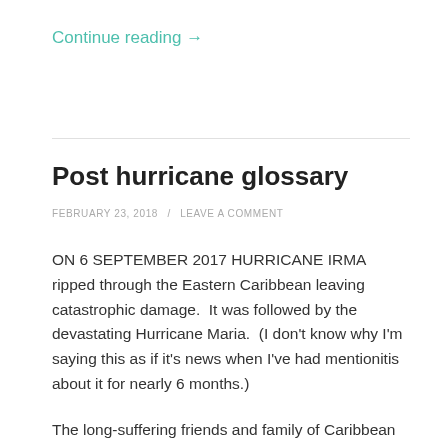Continue reading →
Post hurricane glossary
FEBRUARY 23, 2018 / LEAVE A COMMENT
ON 6 SEPTEMBER 2017 HURRICANE IRMA ripped through the Eastern Caribbean leaving catastrophic damage.  It was followed by the devastating Hurricane Maria.  (I don't know why I'm saying this as if it's news when I've had mentionitis about it for nearly 6 months.)
The long-suffering friends and family of Caribbean